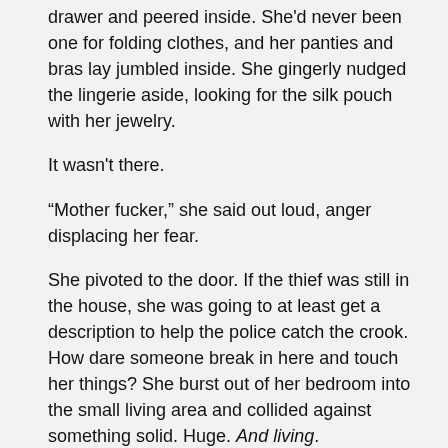drawer and peered inside. She'd never been one for folding clothes, and her panties and bras lay jumbled inside. She gingerly nudged the lingerie aside, looking for the silk pouch with her jewelry.
It wasn't there.
“Mother fucker,” she said out loud, anger displacing her fear.
She pivoted to the door. If the thief was still in the house, she was going to at least get a description to help the police catch the crook. How dare someone break in here and touch her things? She burst out of her bedroom into the small living area and collided against something solid. Huge. And living.
A giant, tattooed man stood between her and the exit.
AmazonUS    AmazonUK
AmazonAU    AmazonCA